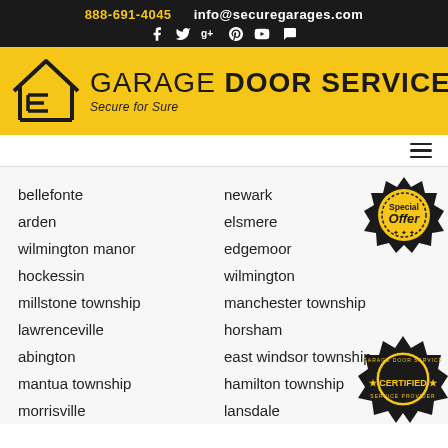888-691-4045  info@securegarages.com
[Figure (logo): E Garage Door Services logo with house/garage icon. Text: GARAGE DOOR SERVICES, Secure for Sure]
bellefonte
arden
wilmington manor
hockessin
millstone township
lawrenceville
abington
mantua township
morrisville
newark
elsmere
edgemoor
wilmington
manchester township
horsham
east windsor township
hamilton township
lansdale
[Figure (illustration): Special Offer badge - yellow and black circular badge]
[Figure (illustration): Certified badge - black circular badge with star CERTIFIED star text]